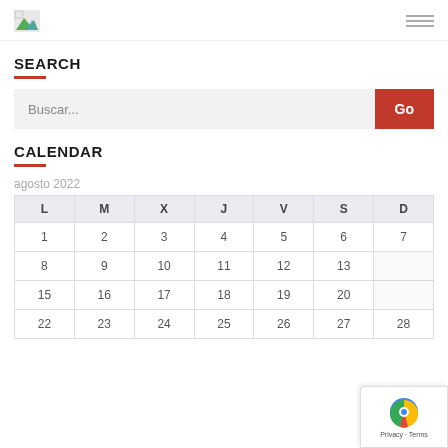Logo and navigation header
SEARCH
Buscar...
CALENDAR
agosto 2022
| L | M | X | J | V | S | D |
| --- | --- | --- | --- | --- | --- | --- |
| 1 | 2 | 3 | 4 | 5 | 6 | 7 |
| 8 | 9 | 10 | 11 | 12 | 13 |  |
| 15 | 16 | 17 | 18 | 19 | 20 |  |
| 22 | 23 | 24 | 25 | 26 | 27 | 28 |